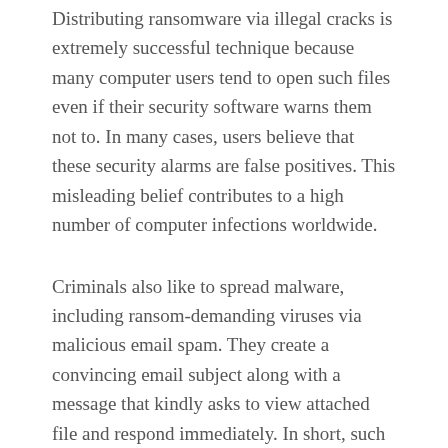Distributing ransomware via illegal cracks is extremely successful technique because many computer users tend to open such files even if their security software warns them not to. In many cases, users believe that these security alarms are false positives. This misleading belief contributes to a high number of computer infections worldwide.
Criminals also like to spread malware, including ransom-demanding viruses via malicious email spam. They create a convincing email subject along with a message that kindly asks to view attached file and respond immediately. In short, such emails are designed to spark the victim's curiosity and also create a feeling of a rush, as the message says there is a missing/pending payment or